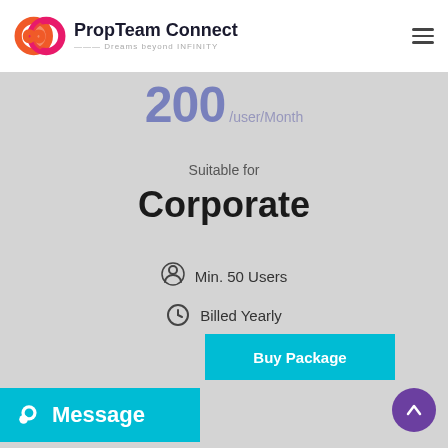PropTeam Connect — Dreams beyond INFINITY
200 /user/Month
Suitable for
Corporate
Min. 50 Users
Billed Yearly
Buy Package
Message